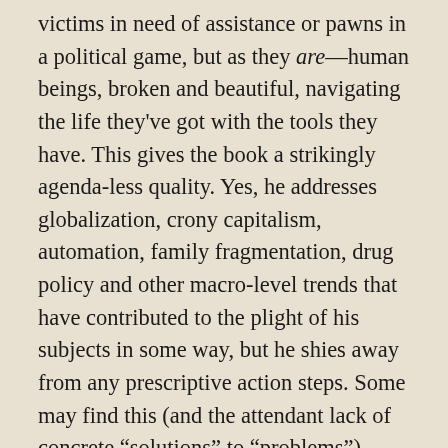victims in need of assistance or pawns in a political game, but as they are—human beings, broken and beautiful, navigating the life they've got with the tools they have. This gives the book a strikingly agenda-less quality. Yes, he addresses globalization, crony capitalism, automation, family fragmentation, drug policy and other macro-level trends that have contributed to the plight of his subjects in some way, but he shies away from any prescriptive action steps. Some may find this (and the attendant lack of concrete “solutions” to “problems”) frustrating, but I think it is a critical posture for the observations Arnade makes to be taken seriously.